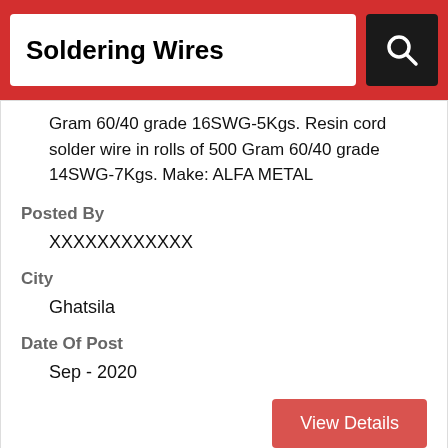Soldering Wires
Gram 60/40 grade 16SWG-5Kgs. Resin cord solder wire in rolls of 500 Gram 60/40 grade 14SWG-7Kgs. Make: ALFA METAL
Posted By
XXXXXXXXXXXX
City
Ghatsila
Date Of Post
Sep - 2020
View Details
Title